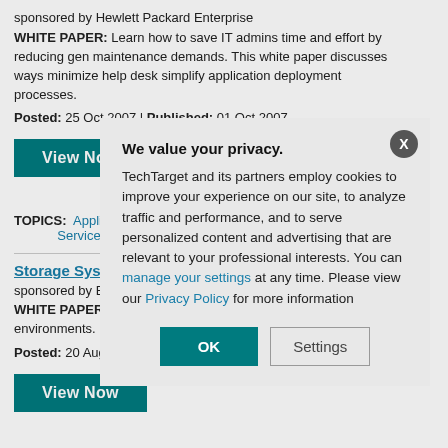sponsored by Hewlett Packard Enterprise
WHITE PAPER: Learn how to save IT admins time and effort by reducing gen maintenance demands. This white paper discusses ways minimize help desk simplify application deployment processes.
Posted: 25 Oct 2007 | Published: 01 Oct 2007
[Figure (other): Teal 'View Now' button]
TOPICS: Application De... Downtime | Help Desk M... Serviceability)
Storage System Avail...
sponsored by EMC C...
WHITE PAPER: Org... inherent characteris... organizations are ac... environments.
Posted: 20 Aug 200...
[Figure (other): Teal 'View Now' button (second)]
We value your privacy. TechTarget and its partners employ cookies to improve your experience on our site, to analyze traffic and performance, and to serve personalized content and advertising that are relevant to your professional interests. You can manage your settings at any time. Please view our Privacy Policy for more information